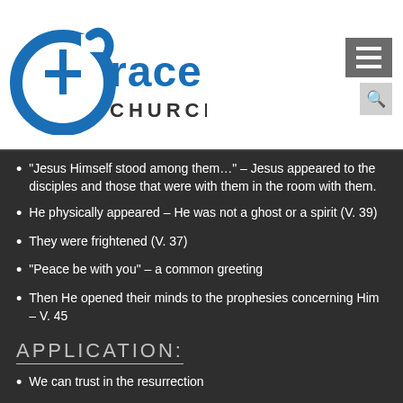[Figure (logo): Grace Church logo with blue swoosh and cross, text reads 'Grace CHURCH']
“Jesus Himself stood among them…” – Jesus appeared to the disciples and those that were with them in the room with them.
He physically appeared – He was not a ghost or a spirit (V. 39)
They were frightened (V. 37)
“Peace be with you” – a common greeting
Then He opened their minds to the prophesies concerning Him – V. 45
APPLICATION:
We can trust in the resurrection